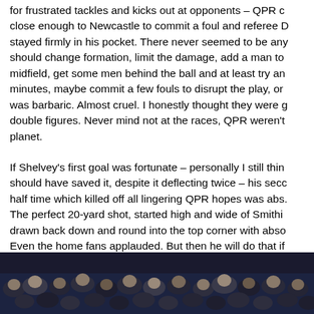for frustrated tackles and kicks out at opponents – QPR close enough to Newcastle to commit a foul and referee stayed firmly in his pocket. There never seemed to be an should change formation, limit the damage, add a man to midfield, get some men behind the ball and at least try an minutes, maybe commit a few fouls to disrupt the play, or was barbaric. Almost cruel. I honestly thought they were go double figures. Never mind not at the races, QPR weren't planet.
If Shelvey's first goal was fortunate – personally I still thin should have saved it, despite it deflecting twice – his seco half time which killed off all lingering QPR hopes was abs. The perfect 20-yard shot, started high and wide of Smithi drawn back down and round into the top corner with abso Even the home fans applauded. But then he will do that if completely unattended 20 yards from goal from a simple marking non-existent, Nedum Onuoha's half-hearted atte and block the shot pathetic.
[Figure (photo): Crowd photo showing fans in stadium stands, dark/nighttime setting with faces partially visible]